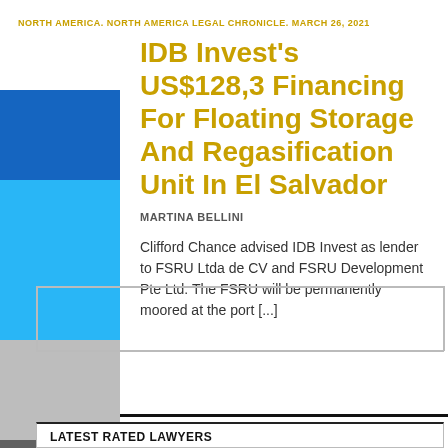NORTH AMERICA. NORTH AMERICA LEGAL CHRONICLE. MARCH 26, 2021
IDB Invest's US$128,3 Financing For Floating Storage And Regasification Unit In El Salvador
MARTINA BELLINI
Clifford Chance advised IDB Invest as lender to FSRU Ltda de CV and FSRU Development Pte Ltd. The FSRU will be permanently moored at the port [...]
LATEST RATED LAWYERS